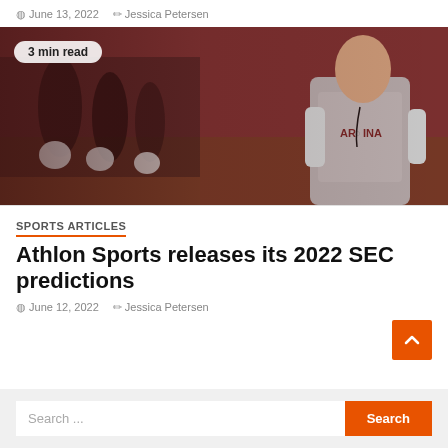June 13, 2022   Jessica Petersen
[Figure (photo): A football coach in a gray Carolina long-sleeve shirt and lanyard standing on an indoor practice field, with players in dark jerseys blurred in the background. Badge overlay: '3 min read'.]
SPORTS ARTICLES
Athlon Sports releases its 2022 SEC predictions
June 12, 2022   Jessica Petersen